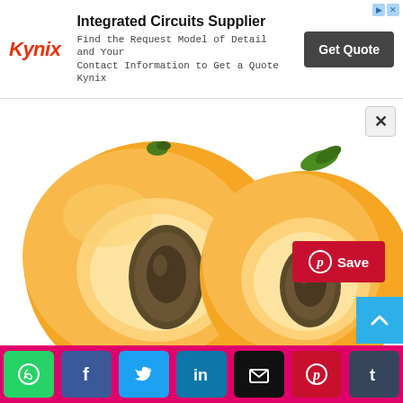[Figure (infographic): Advertisement banner: Kynix logo (red italic), 'Integrated Circuits Supplier' heading, description text, and dark 'Get Quote' button]
[Figure (photo): Two halves of fresh apricots showing the pit/stone, on a white background. Orange-yellow fruit flesh visible.]
Dried Apricots are prepared by dehydrating fresh apricots. These dry fruits are rich in dietary fiber, which can prev constipation, leading to many skin problems. Apricots a
[Figure (infographic): Social sharing bar with buttons: WhatsApp (green), Facebook (dark blue), Twitter (light blue), LinkedIn (blue), Email (black), Pinterest (red), Tumblr (dark blue-grey)]